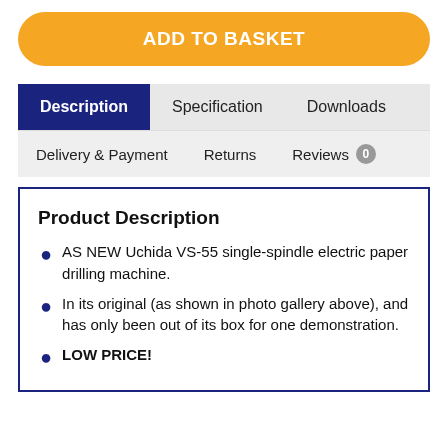ADD TO BASKET
Description
Specification
Downloads
Delivery & Payment
Returns
Reviews 0
Product Description
AS NEW Uchida VS-55 single-spindle electric paper drilling machine.
In its original (as shown in photo gallery above), and has only been out of its box for one demonstration.
LOW PRICE!